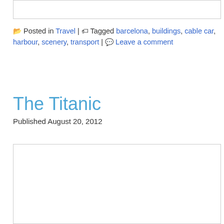[Figure (other): Empty white box with border at top of page]
📂 Posted in Travel | 🏷 Tagged barcelona, buildings, cable car, harbour, scenery, transport | 💬 Leave a comment
The Titanic
Published August 20, 2012
[Figure (other): Empty white box with border at bottom of page]